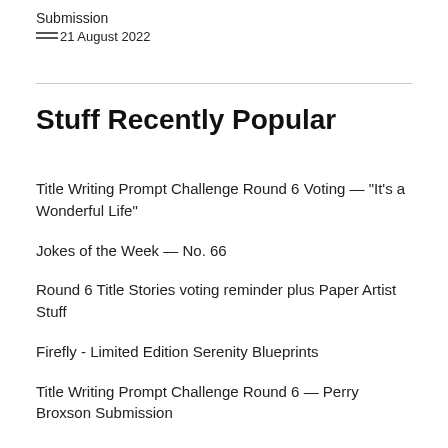Submission
21 August 2022
Stuff Recently Popular
Title Writing Prompt Challenge Round 6 Voting — "It's a Wonderful Life"
Jokes of the Week — No. 66
Round 6 Title Stories voting reminder plus Paper Artist Stuff
Firefly - Limited Edition Serenity Blueprints
Title Writing Prompt Challenge Round 6 — Perry Broxson Submission